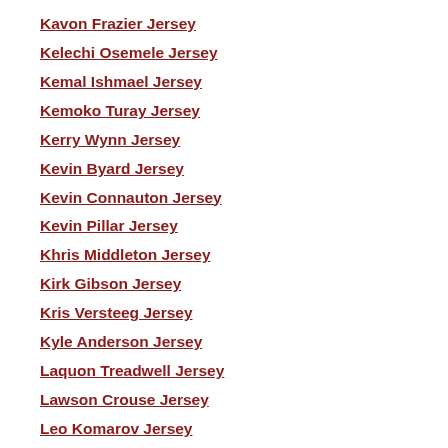Kavon Frazier Jersey
Kelechi Osemele Jersey
Kemal Ishmael Jersey
Kemoko Turay Jersey
Kerry Wynn Jersey
Kevin Byard Jersey
Kevin Connauton Jersey
Kevin Pillar Jersey
Khris Middleton Jersey
Kirk Gibson Jersey
Kris Versteeg Jersey
Kyle Anderson Jersey
Laquon Treadwell Jersey
Lawson Crouse Jersey
Leo Komarov Jersey
Los Angeles Rams
Louis Williams Jersey
Marcus Sherels Jersey
Mario Addison Jersey
Mario Lemieux Jersey
Mark Melancon Jersey